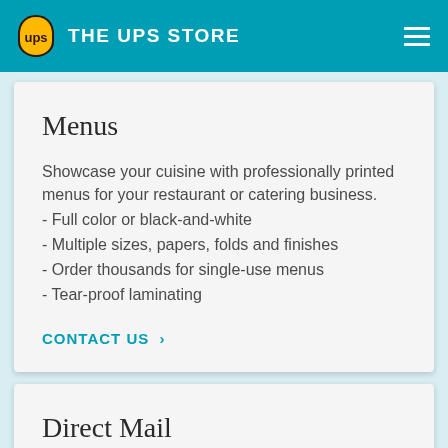THE UPS STORE
Menus
Showcase your cuisine with professionally printed menus for your restaurant or catering business.
- Full color or black-and-white
- Multiple sizes, papers, folds and finishes
- Order thousands for single-use menus
- Tear-proof laminating
CONTACT US >
Direct Mail